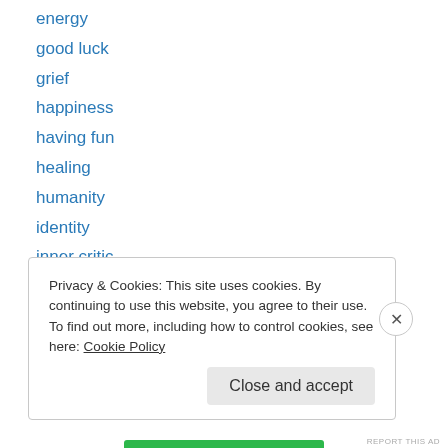energy
good luck
grief
happiness
having fun
healing
humanity
identity
inner critic
Life Lessons
love
meditation
mindfulness
Privacy & Cookies: This site uses cookies. By continuing to use this website, you agree to their use.
To find out more, including how to control cookies, see here: Cookie Policy
Close and accept